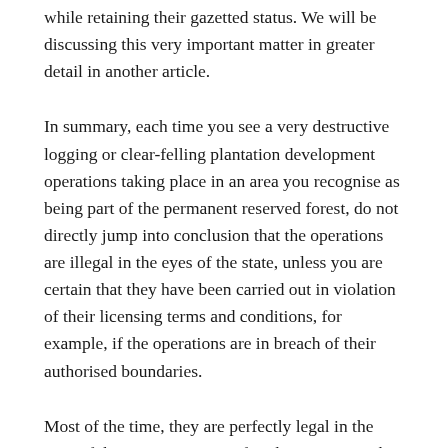while retaining their gazetted status. We will be discussing this very important matter in greater detail in another article.
In summary, each time you see a very destructive logging or clear-felling plantation development operations taking place in an area you recognise as being part of the permanent reserved forest, do not directly jump into conclusion that the operations are illegal in the eyes of the state, unless you are certain that they have been carried out in violation of their licensing terms and conditions, for example, if the operations are in breach of their authorised boundaries.
Most of the time, they are perfectly legal in the eyes of the state. However, if such operations take place on indigenous customary territories, which is not uncommon at all, this perspective can well be challenged by the people. While statutory laws on indigenous customary land rights are beset with many weaknesses, the scope